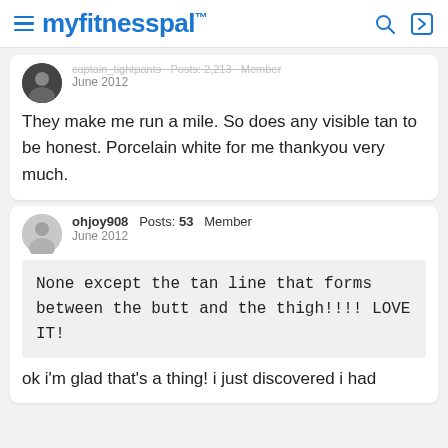myfitnesspal
captain_tightpants · Posts: 2,213 · Member
June 2012
They make me run a mile. So does any visible tan to be honest. Porcelain white for me thankyou very much.
ohjoy908  Posts: 53  Member
June 2012
None except the tan line that forms between the butt and the thigh!!!! LOVE IT!
ok i'm glad that's a thing! i just discovered i had